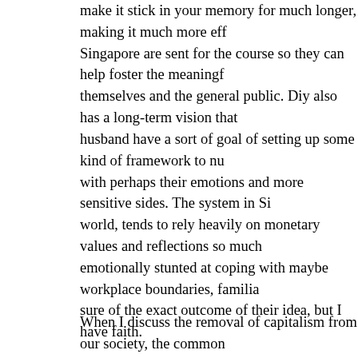make it stick in your memory for much longer, making it much more effective. Singapore are sent for the course so they can help foster the meaningful themselves and the general public. Diy also has a long-term vision that husband have a sort of goal of setting up some kind of framework to nu with perhaps their emotions and more sensitive sides. The system in Si world, tends to rely heavily on monetary values and reflections so much emotionally stunted at coping with maybe workplace boundaries, familia sure of the exact outcome of their idea, but I have faith.
When I discuss the removal of capitalism from our society, the common represent value? It's because capitalism has been around for so long th without. One day, hundreds of years ago, they lived before a capitalist w dream up capitalism. It was also a frontier to them, it was something un and we can remove it and replace it with something that prioritizes comm being imagined, that was perhaps what the world needed, constant and societal advancement. They lived in a scarcity mindset. In our current sc can and should switch our mindset, before climate change reverses thin There are enough houses in the world to home all homeless people. Th every single person. There are enough resources to give everyone food are still living in poverty is only highlighting that the system we subscribe
The store told us to bring home anything we wanted before we closed a was the store's Rubik's Cube. I've never solved one before, as far as I c I think. I want to know if anyone figures out how to solve a Rubik's Cube